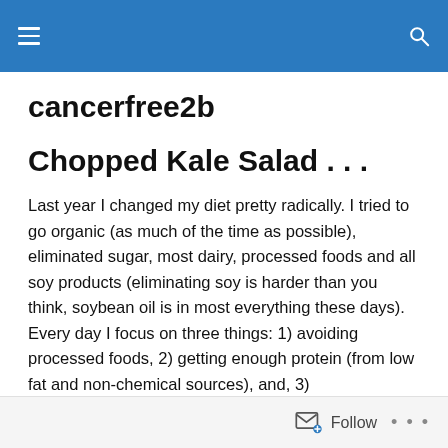cancerfree2b [navigation header with hamburger menu and search icon]
cancerfree2b
Chopped Kale Salad . . .
Last year I changed my diet pretty radically. I tried to go organic (as much of the time as possible), eliminated sugar, most dairy, processed foods and all soy products (eliminating soy is harder than you think, soybean oil is in most everything these days). Every day I focus on three things: 1) avoiding processed foods, 2) getting enough protein (from low fat and non-chemical sources), and, 3)
Follow ...